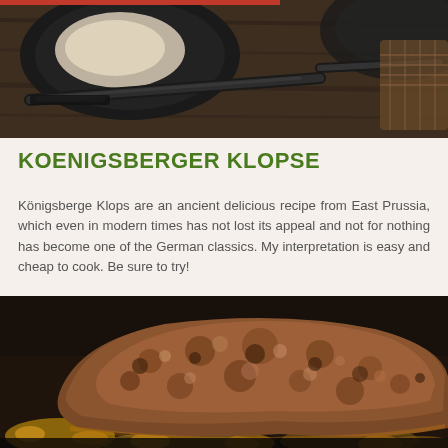[Figure (photo): Close-up photo of a dark plate with cutlery (knife and fork) on a wooden table, showing remnants of a meal with a creamy sauce]
KOENIGSBERGER KLOPSE
Königsberge Klops are an ancient delicious recipe from East Prussia, which even in modern times has not lost its appeal and not for nothing has become one of the German classics. My interpretation is easy and cheap to cook. Be sure to try!
[Figure (photo): Close-up photo of a browned, breaded meat patty (Koenigsberger Klopse) in a dark baking pan with onions]